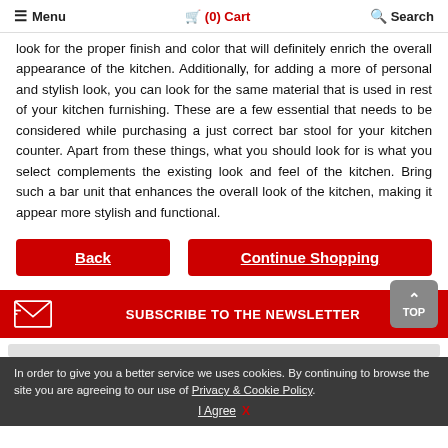Menu  (0) Cart  Search
look for the proper finish and color that will definitely enrich the overall appearance of the kitchen. Additionally, for adding a more of personal and stylish look, you can look for the same material that is used in rest of your kitchen furnishing. These are a few essential that needs to be considered while purchasing a just correct bar stool for your kitchen counter. Apart from these things, what you should look for is what you select complements the existing look and feel of the kitchen. Bring such a bar unit that enhances the overall look of the kitchen, making it appear more stylish and functional.
Back
Continue Shopping
SUBSCRIBE TO THE NEWSLETTER
In order to give you a better service we uses cookies. By continuing to browse the site you are agreeing to our use of Privacy & Cookie Policy. I Agree  X